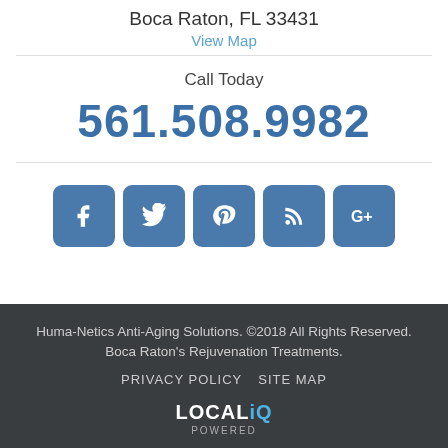Boca Raton, FL 33431
View Map
Call Today
561.508.9982
[Figure (infographic): Row of 5 social media icon buttons (Facebook, Twitter, Pinterest, RSS, Google+) with blue rounded square backgrounds]
Huma-Netics Anti-Aging Solutions. ©2018 All Rights Reserved. Boca Raton's Rejuvenation Treatments.
PRIVACY POLICY   SITE MAP
LOCALiQ POWERED